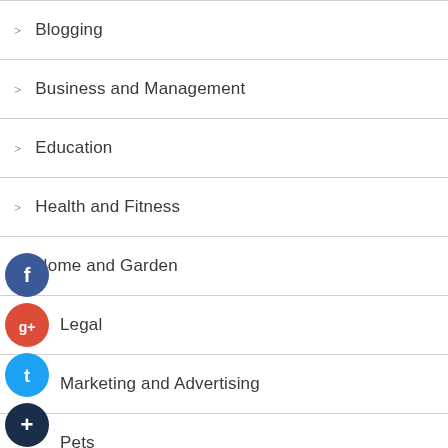Blogging
Business and Management
Education
Health and Fitness
Home and Garden
Legal
Marketing and Advertising
Pets
Technology and Gadgets
Travel and Leisure